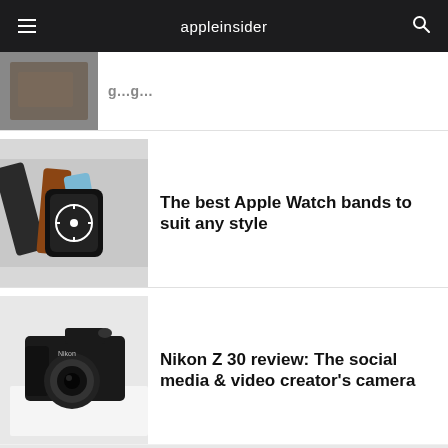appleinsider
[Figure (photo): Partially visible article thumbnail at top of page]
The best Apple Watch bands to suit any style
[Figure (photo): Apple Watch with multiple band styles laid out on a white surface]
Nikon Z 30 review: The social media & video creator's camera
[Figure (photo): Nikon Z 30 mirrorless camera on a white surface]
[Figure (other): Gray advertisement or placeholder block at bottom of page]